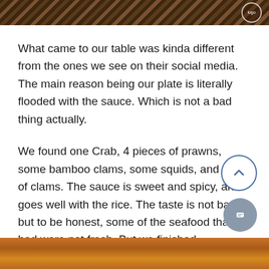[Figure (photo): Top decorative wood-grain stripe image with a small circular logo in the top right corner]
What came to our table was kinda different from the ones we see on their social media. The main reason being our plate is literally flooded with the sauce. Which is not a bad thing actually.
We found one Crab, 4 pieces of prawns, some bamboo clams, some squids, and lots of clams. The sauce is sweet and spicy, and goes well with the rice. The taste is not bad, but to be honest, some of the seafood that we had were not fresh. But we finished everything anyway. We were too hungry.
[Figure (photo): Bottom food photo showing seafood dish]